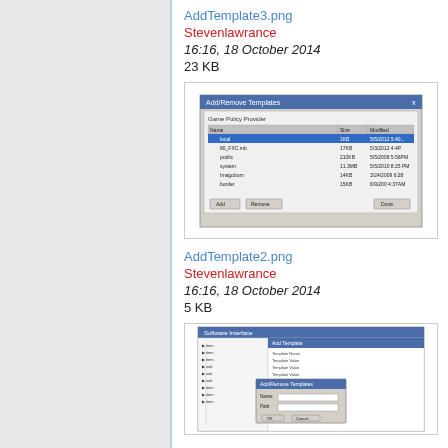AddTemplate3.png
Stevenlawrance
16:16, 18 October 2014
23 KB
[Figure (screenshot): Screenshot of Add/Remove Templates dialog showing a file browser with folders and files listed with sizes and dates]
AddTemplate2.png
Stevenlawrance
16:16, 18 October 2014
5 KB
[Figure (screenshot): Screenshot of a software interface showing a tree view on the left and an Add Template dialog box open in the center]